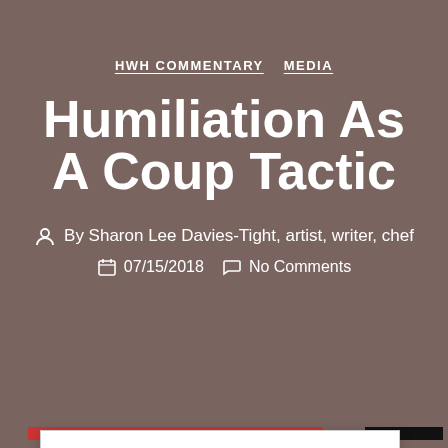HWH COMMENTARY   MEDIA
Humiliation As A Coup Tactic
By Sharon Lee Davies-Tight, artist, writer, chef
07/15/2018   No Comments
Privacy & Cookies: This site uses cookies. By continuing to use this website, you agree to their use. To find out more, including how to control cookies, see here: Cookie Policy
CLOSE AND ACCEPT